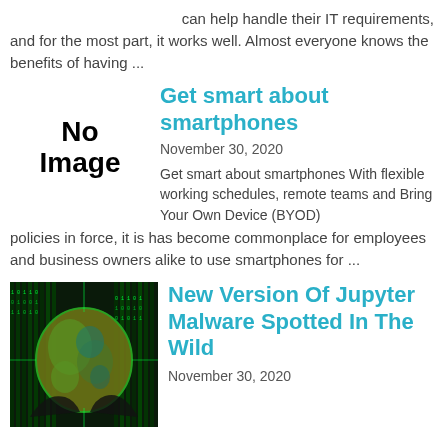can help handle their IT requirements, and for the most part, it works well. Almost everyone knows the benefits of having ...
[Figure (other): No Image placeholder box with bold text 'No Image']
Get smart about smartphones
November 30, 2020
Get smart about smartphones With flexible working schedules, remote teams and Bring Your Own Device (BYOD) policies in force, it is has become commonplace for employees and business owners alike to use smartphones for ...
[Figure (photo): Thumbnail image showing a globe with green matrix-style digital rain overlay, depicting a cybersecurity concept]
New Version Of Jupyter Malware Spotted In The Wild
November 30, 2020